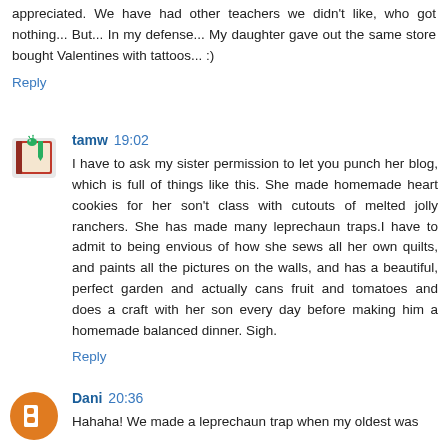appreciated. We have had other teachers we didn't like, who got nothing... But... In my defense... My daughter gave out the same store bought Valentines with tattoos... :)
Reply
tamw 19:02
I have to ask my sister permission to let you punch her blog, which is full of things like this. She made homemade heart cookies for her son't class with cutouts of melted jolly ranchers. She has made many leprechaun traps.I have to admit to being envious of how she sews all her own quilts, and paints all the pictures on the walls, and has a beautiful, perfect garden and actually cans fruit and tomatoes and does a craft with her son every day before making him a homemade balanced dinner. Sigh.
Reply
Dani 20:36
Hahaha! We made a leprechaun trap when my oldest was